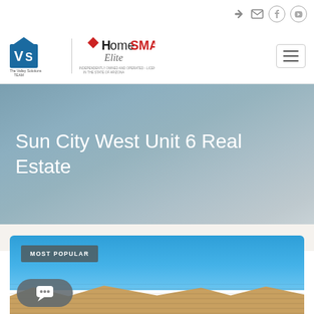[Figure (logo): The Valley Solutions Team and HomeSmart Elite Group logo combination with divider]
Sun City West Unit 6 Real Estate
MOST POPULAR
[Figure (photo): Rooftop view against a blue sky, partially visible at the bottom of the page]